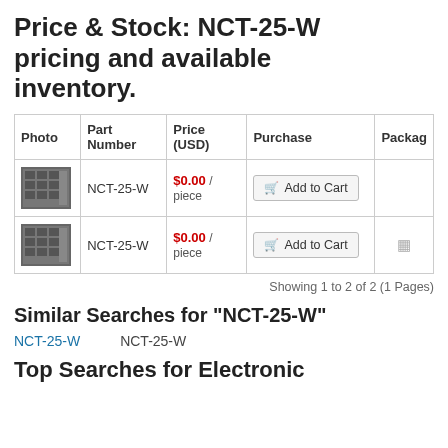Price & Stock: NCT-25-W pricing and available inventory.
| Photo | Part Number | Price (USD) | Purchase | Packag |
| --- | --- | --- | --- | --- |
| [photo] | NCT-25-W | $0.00 / piece | Add to Cart |  |
| [photo] | NCT-25-W | $0.00 / piece | Add to Cart | [icon] |
Showing 1 to 2 of 2 (1 Pages)
Similar Searches for "NCT-25-W"
NCT-25-W    NCT-25-W
Top Searches for Electronic